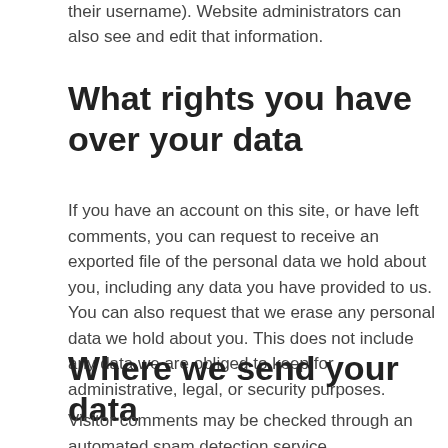their username). Website administrators can also see and edit that information.
What rights you have over your data
If you have an account on this site, or have left comments, you can request to receive an exported file of the personal data we hold about you, including any data you have provided to us. You can also request that we erase any personal data we hold about you. This does not include any data we are obliged to keep for administrative, legal, or security purposes.
Where we send your data
Visitor comments may be checked through an automated spam detection service.